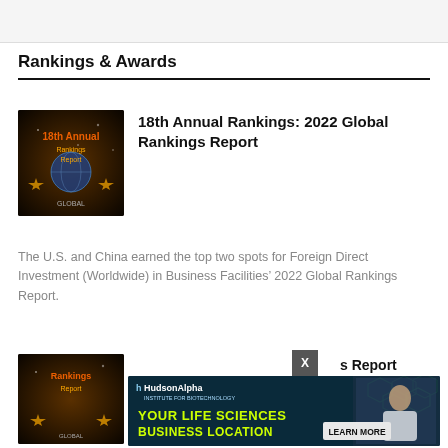Rankings & Awards
18th Annual Rankings: 2022 Global Rankings Report
The U.S. and China earned the top two spots for Foreign Direct Investment (Worldwide) in Business Facilities’ 2022 Global Rankings Report.
[Figure (other): Advertisement banner for HudsonAlpha Institute for Biotechnology with text 'YOUR LIFE SCIENCES BUSINESS LOCATION' and 'LEARN MORE' button]
s Report